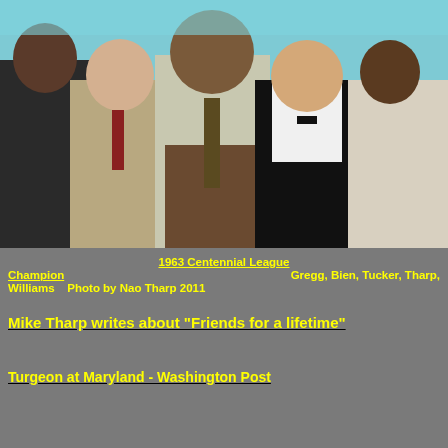[Figure (photo): Five men standing together smiling outdoors near water. From left to right: Gregg, Bien, Tucker, Tharp, Williams. Photo taken by Nao Tharp in 2011. 1963 Centennial League Champion photo.]
1963 Centennial League Champion   Gregg, Bien, Tucker, Tharp, Williams   Photo by Nao Tharp 2011
Mike Tharp writes about "Friends for a lifetime"
Turgeon at Maryland  - Washington Post